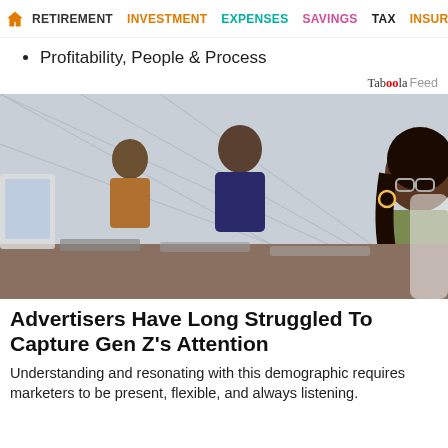RETIREMENT | INVESTMENT | EXPENSES | SAVINGS | TAX | INSURANCE
Profitability, People & Process
Taboola Feed
[Figure (photo): Young woman with glasses and long dark hair working at a computer in an office environment, with other people working at computers in the background.]
Advertisers Have Long Struggled To Capture Gen Z's Attention
Understanding and resonating with this demographic requires marketers to be present, flexible, and always listening.